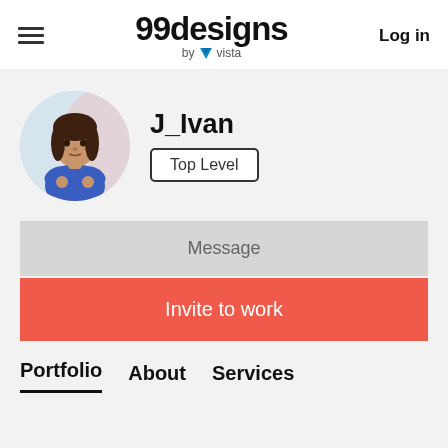[Figure (logo): 99designs by vista logo with hamburger menu and Log in button in header]
Log in
[Figure (illustration): Circular avatar portrait of J_Ivan, a person with dark hair wearing a blue shirt, illustrated style with arms crossed]
J_Ivan
Top Level
Message
Invite to work
Portfolio
About
Services